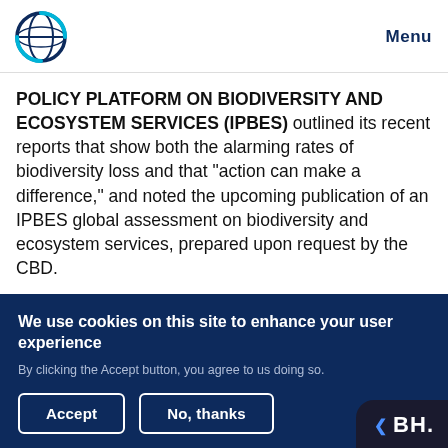Menu
POLICY PLATFORM ON BIODIVERSITY AND ECOSYSTEM SERVICES (IPBES) outlined its recent reports that show both the alarming rates of biodiversity loss and that "action can make a difference," and noted the upcoming publication of an IPBES global assessment on biodiversity and ecosystem services, prepared upon request by the CBD.
We use cookies on this site to enhance your user experience
By clicking the Accept button, you agree to us doing so.